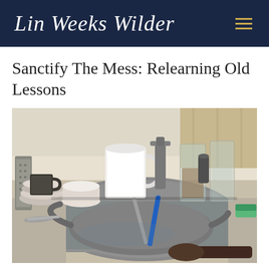Lin Weeks Wilder
Sanctify The Mess: Relearning Old Lessons
[Figure (photo): A cluttered kitchen sink filled with dirty dishes, pots, pans, mugs, glasses, utensils, and a green sponge on the right side.]
Sanctify the mess: Relearning old lessons